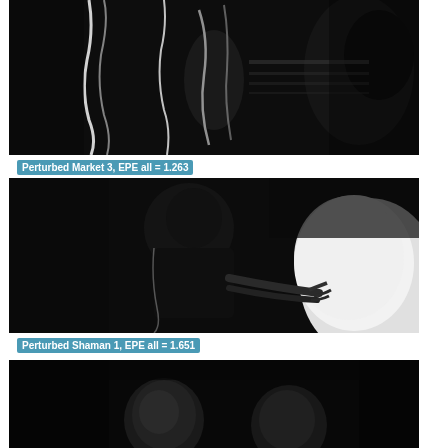[Figure (photo): Black and white optical flow visualization of a crowded market scene (Perturbed Market 3). Dark image with bright edges highlighting motion/people silhouettes.]
Perturbed Market 3, EPE all = 1.263
[Figure (photo): Black and white optical flow visualization showing a figure (Perturbed Shaman 1) reaching toward a large white sphere or object. Dark background with figure rendered in grayscale.]
Perturbed Shaman 1, EPE all = 1.651
[Figure (photo): Black and white optical flow visualization, partially visible at bottom of page. Shows two figures with faces visible against a dark background.]